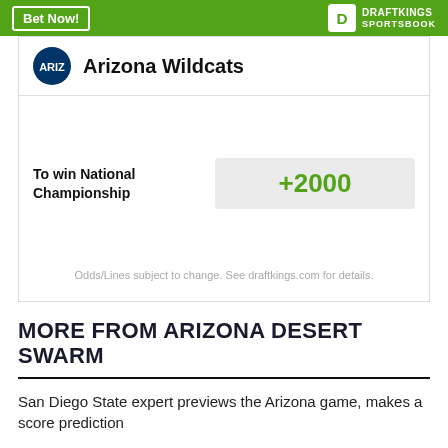[Figure (logo): DraftKings Sportsbook green header bar with Bet Now button and DraftKings Sportsbook logo]
Arizona Wildcats
To win National Championship +2000
Odds/Lines subject to change. See draftkings.com for details.
MORE FROM ARIZONA DESERT SWARM
San Diego State expert previews the Arizona game, makes a score prediction